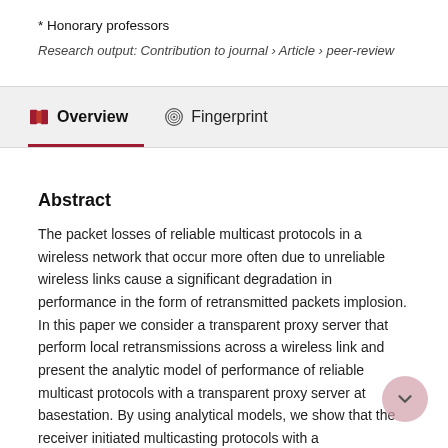* Honorary professors
Research output: Contribution to journal › Article › peer-review
Overview   Fingerprint
Abstract
The packet losses of reliable multicast protocols in a wireless network that occur more often due to unreliable wireless links cause a significant degradation in performance in the form of retransmitted packets implosion. In this paper we consider a transparent proxy server that perform local retransmissions across a wireless link and present the analytic model of performance of reliable multicast protocols with a transparent proxy server at basestation. By using analytical models, we show that the receiver initiated multicasting protocols with a transparent proxy server achieved higher control the packet that the